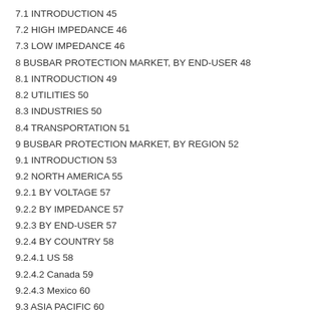7.1 INTRODUCTION 45
7.2 HIGH IMPEDANCE 46
7.3 LOW IMPEDANCE 46
8 BUSBAR PROTECTION MARKET, BY END-USER 48
8.1 INTRODUCTION 49
8.2 UTILITIES 50
8.3 INDUSTRIES 50
8.4 TRANSPORTATION 51
9 BUSBAR PROTECTION MARKET, BY REGION 52
9.1 INTRODUCTION 53
9.2 NORTH AMERICA 55
9.2.1 BY VOLTAGE 57
9.2.2 BY IMPEDANCE 57
9.2.3 BY END-USER 57
9.2.4 BY COUNTRY 58
9.2.4.1 US 58
9.2.4.2 Canada 59
9.2.4.3 Mexico 60
9.3 ASIA PACIFIC 60
9.3.1 BY VOLTAGE 62